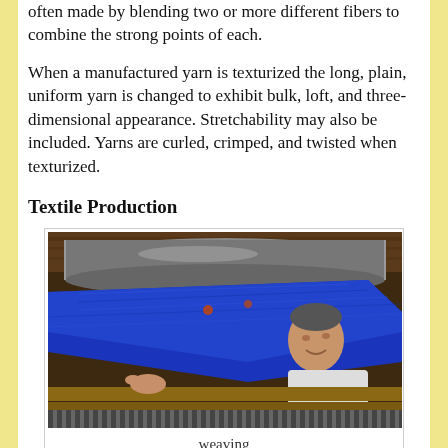often made by blending two or more different fibers to combine the strong points of each.
When a manufactured yarn is texturized the long, plain, uniform yarn is changed to exhibit bulk, loft, and three-dimensional appearance. Stretchability may also be included. Yarns are curled, crimped, and twisted when texturized.
Textile Production
[Figure (photo): A person working at a traditional weaving loom, stretching blue fabric across wooden and metal rollers in a workshop setting.]
weaving